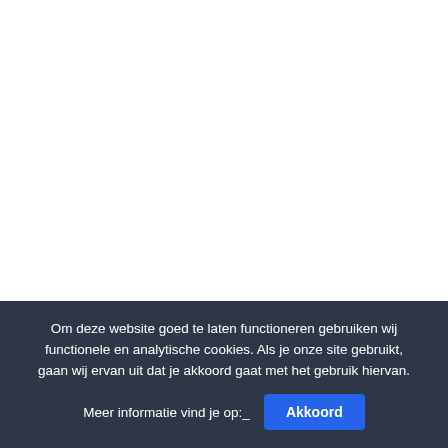Om deze website goed te laten functioneren gebruiken wij functionele en analytische cookies. Als je onze site gebruikt, gaan wij ervan uit dat je akkoord gaat met het gebruik hiervan. Meer informatie vind je op:_ Akkoord